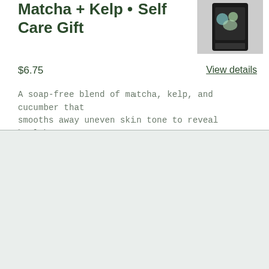Matcha + Kelp • Self Care Gift
[Figure (photo): Product image of a dark package with blue and green design elements]
$6.75
View details
A soap-free blend of matcha, kelp, and cucumber that smooths away uneven skin tone to reveal healthy-...
Now open in Bay St. Louis, MS!
Come shop our new location on the third floor of the Shops of Century Hall in Old Town Bay St. Louis.